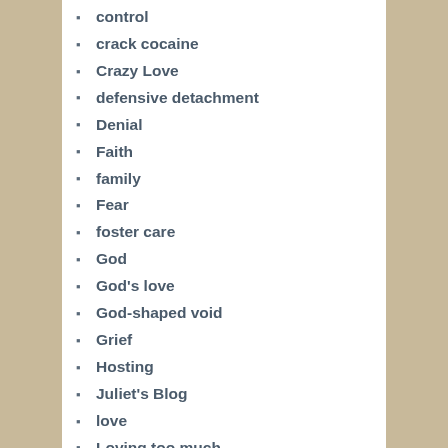control
crack cocaine
Crazy Love
defensive detachment
Denial
Faith
family
Fear
foster care
God
God's love
God-shaped void
Grief
Hosting
Juliet's Blog
love
Loving too much
Making Amends
marriage
Memoir
Mental Health
Mental Health A...